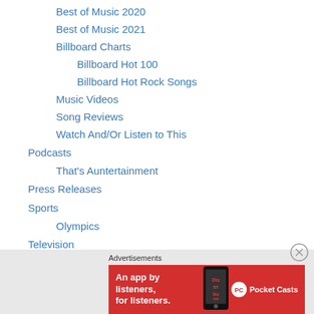Best of Music 2020
Best of Music 2021
Billboard Charts
Billboard Hot 100
Billboard Hot Rock Songs
Music Videos
Song Reviews
Watch And/Or Listen to This
Podcasts
That's Auntertainment
Press Releases
Sports
Olympics
Television
10 Representative Episodes
30 Rock
Advertisements
[Figure (other): Pocket Casts advertisement banner: red background with text 'An app by listeners, for listeners.' and Pocket Casts logo with phone image showing 'Distributed' on screen]